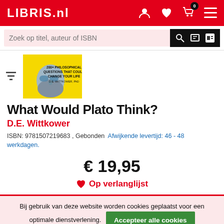LIBRIS.nl
Zoek op titel, auteur of ISBN
[Figure (illustration): Book cover for 'What Would Plato Think?' by D.E. Wittkower. Yellow cover with illustration of a bearded face wearing blue-tinted glasses. Text: '200+ PHILOSOPHICAL QUESTIONS THAT COULD CHANGE YOUR LIFE'.]
What Would Plato Think?
D.E. Wittkower
ISBN: 9781507219683 , Gebonden  Afwijkende levertijd: 46 - 48 werkdagen.
€ 19,95
♥ Op verlanglijst
Bij gebruik van deze website worden cookies geplaatst voor een optimale dienstverlening.
Accepteer alle cookies
Personaliseer
Lees meer over ons cookiebeleid